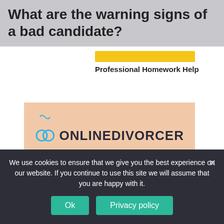What are the warning signs of a bad candidate?
Professional Homework Help
[Figure (infographic): OnlineDivorcer advertisement banner with logo, full divorce package, no lawyers needed, and a partially visible third bullet point]
We use cookies to ensure that we give you the best experience on our website. If you continue to use this site we will assume that you are happy with it.
Ok
Privacy policy